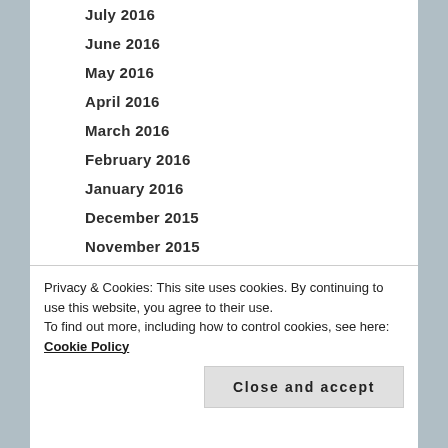July 2016
June 2016
May 2016
April 2016
March 2016
February 2016
January 2016
December 2015
November 2015
October 2015
September 2015
August 2015
July 2015
June 2015
Privacy & Cookies: This site uses cookies. By continuing to use this website, you agree to their use.
To find out more, including how to control cookies, see here: Cookie Policy
January 2015